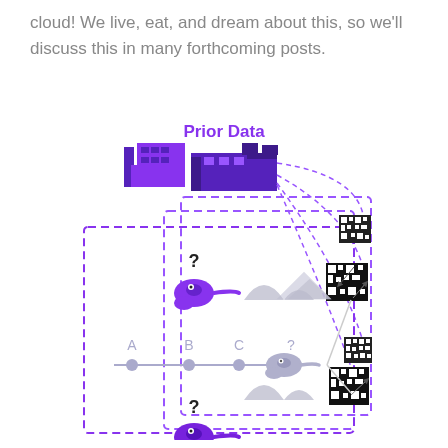cloud! We live, eat, and dream about this, so we'll discuss this in many forthcoming posts.
[Figure (infographic): Infographic showing 'Prior Data' concept: Two purple building/factory icons at top labeled 'Prior Data', connected by dashed arrows to a nested dashed-border box containing a robot/camera selection diagram with labels A, B, C, ? and question marks, branching outcomes shown as mountain shapes, and pixelated QR-like output squares on the right side.]